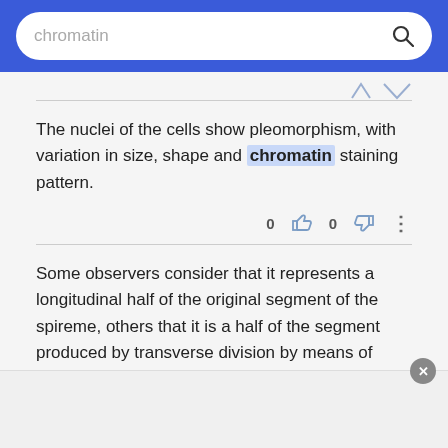chromatin
The nuclei of the cells show pleomorphism, with variation in size, shape and chromatin staining pattern.
0  0  :
Some observers consider that it represents a longitudinal half of the original segment of the spireme, others that it is a half of the segment produced by transverse division by means of which a true qualitative separation of the chromatin is brought about.